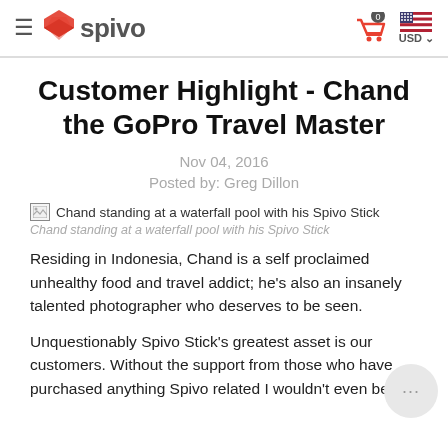≡ spivo  0 USD
Customer Highlight - Chand the GoPro Travel Master
Nov 04, 2016
Posted by: Greg Dillon
[Figure (photo): Broken image placeholder with alt text: Chand standing at a waterfall pool with his Spivo Stick]
Chand standing at a waterfall pool with his Spivo Stick
Residing in Indonesia, Chand is a self proclaimed unhealthy food and travel addict; he's also an insanely talented photographer who deserves to be seen.
Unquestionably Spivo Stick's greatest asset is our customers. Without the support from those who have purchased anything Spivo related I wouldn't even be